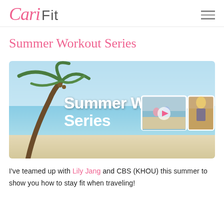Cari Fit
Summer Workout Series
[Figure (screenshot): Hero banner image for Summer Workout Series. Background shows a tropical beach with a palm tree, blue sky and ocean. Large white bold text reads 'Summer Workout Series'. Two inset video thumbnails: one showing two women doing fitness exercises on a dock/pier, one showing a blonde woman indoors. A circular play button is visible on the first thumbnail.]
I've teamed up with Lily Jang and CBS (KHOU) this summer to show you how to stay fit when traveling!